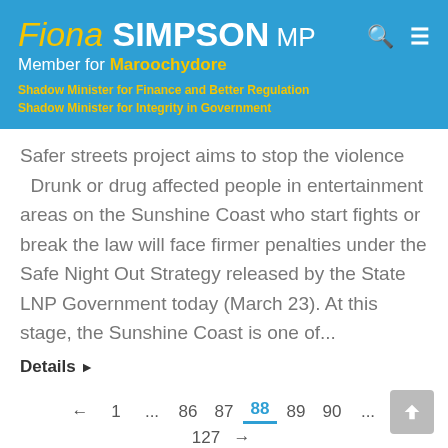Fiona SIMPSON MP | Member for Maroochydore | Shadow Minister for Finance and Better Regulation | Shadow Minister for Integrity in Government
Safer streets project aims to stop the violence    Drunk or drug affected people in entertainment areas on the Sunshine Coast who start fights or break the law will face firmer penalties under the Safe Night Out Strategy released by the State LNP Government today (March 23). At this stage, the Sunshine Coast is one of...
Details ▶
← 1 ... 86 87 88 89 90 ... 127 →